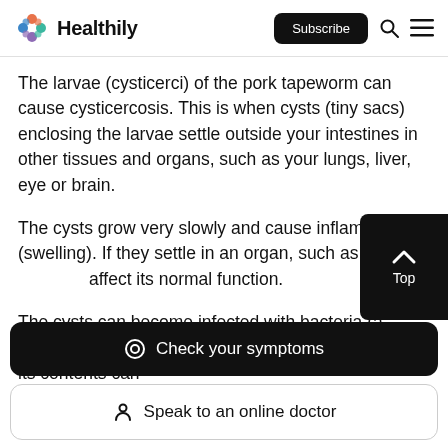Healthily | Subscribe
The larvae (cysticerci) of the pork tapeworm can cause cysticercosis. This is when cysts (tiny sacs) enclosing the larvae settle outside your intestines in other tissues and organs, such as your lungs, liver, eye or brain.
The cysts grow very slowly and cause inflammation (swelling). If they settle in an organ, such as the liver, they can affect its normal function.
The cysts can become infected with bacteria (a secondary infection) and can burst. If a cyst bursts, its contents can
Check your symptoms
Speak to an online doctor